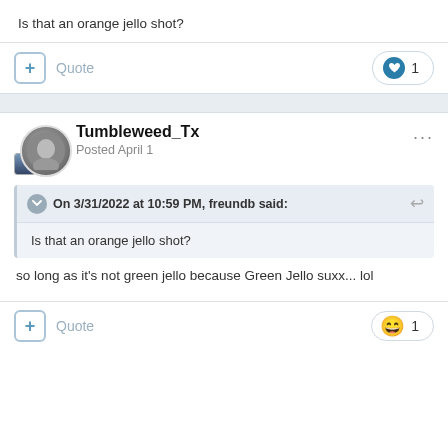Is that an orange jello shot?
+ Quote | ♥ 1
Tumbleweed_Tx
Posted April 1
On 3/31/2022 at 10:59 PM, freundb said:
Is that an orange jello shot?
so long as it's not green jello because Green Jello suxx... lol
+ Quote | 😄 1